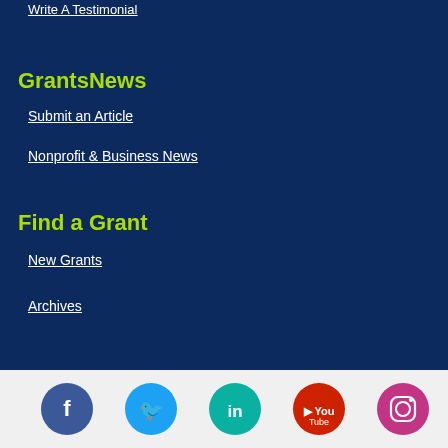Write A Testimonial
GrantsNews
Submit an Article
Nonprofit & Business News
Find a Grant
New Grants
Archives
[Figure (infographic): Social media icons row: Facebook (blue circle), Twitter (light blue circle), LinkedIn (teal circle), YouTube (red circle), Instagram (pink/purple circle)]